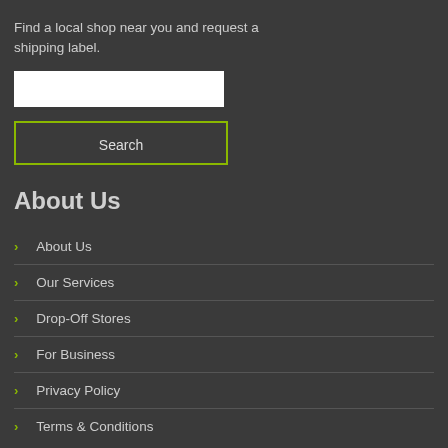Find a local shop near you and request a shipping label.
[Figure (other): Search input text field (white rectangle)]
Search
About Us
About Us
Our Services
Drop-Off Stores
For Business
Privacy Policy
Terms & Conditions